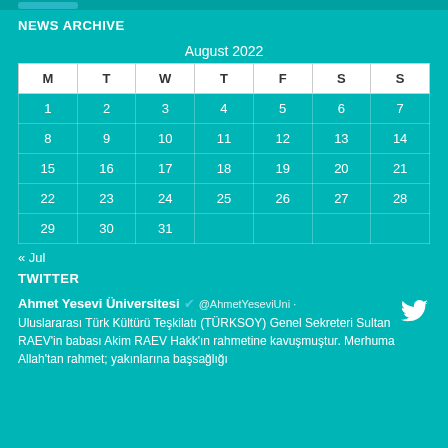NEWS ARCHIVE
| M | T | W | T | F | S | S |
| --- | --- | --- | --- | --- | --- | --- |
| 1 | 2 | 3 | 4 | 5 | 6 | 7 |
| 8 | 9 | 10 | 11 | 12 | 13 | 14 |
| 15 | 16 | 17 | 18 | 19 | 20 | 21 |
| 22 | 23 | 24 | 25 | 26 | 27 | 28 |
| 29 | 30 | 31 |  |  |  |  |
« Jul
TWITTER
Ahmet Yesevi Üniversitesi ✔ @AhmetYeseviUni ·
Uluslararası Türk Kültürü Teşkilatı (TÜRKSOY) Genel Sekreteri Sultan RAEV'in babası Akim RAEV Hakk'ın rahmetine kavuşmuştur. Merhuma Allah'tan rahmet; yakınlarına başsağlığı